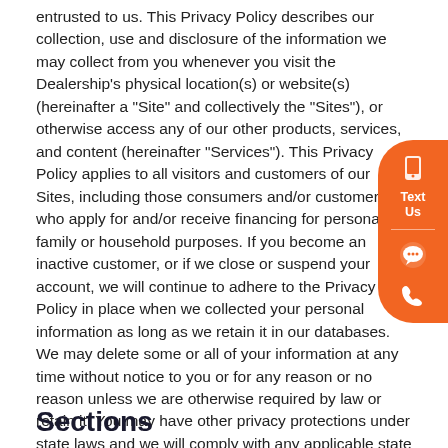entrusted to us. This Privacy Policy describes our collection, use and disclosure of the information we may collect from you whenever you visit the Dealership's physical location(s) or website(s) (hereinafter a "Site" and collectively the "Sites"), or otherwise access any of our other products, services, and content (hereinafter "Services"). This Privacy Policy applies to all visitors and customers of our Sites, including those consumers and/or customers who apply for and/or receive financing for personal, family or household purposes. If you become an inactive customer, or if we close or suspend your account, we will continue to adhere to the Privacy Policy in place when we collected your personal information as long as we retain it in our databases. We may delete some or all of your information at any time without notice to you or for any reason or no reason unless we are otherwise required by law or retain it. You may have other privacy protections under state laws and we will comply with any applicable state laws when we disclose information about you.
[Figure (other): Orange floating contact widget on the right side with phone/text icon and 'Text Us' label, a chat icon, and a phone/call icon. A blue circle is partially visible behind the chat icon.]
Sections